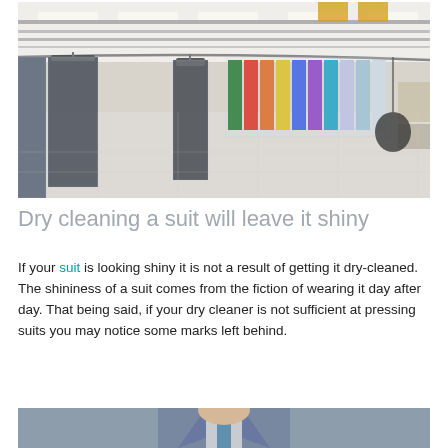[Figure (photo): Interior of a dry cleaning facility with clothes hanging on conveyor rails, various garments in plastic wrap, and a large open floor space with industrial lighting.]
Dry cleaning a suit will leave it shiny
If your suit is looking shiny it is not a result of getting it dry-cleaned. The shininess of a suit comes from the fiction of wearing it day after day. That being said, if your dry cleaner is not sufficient at pressing suits you may notice some marks left behind.
[Figure (photo): Partial view of a person wearing a suit, visible from chest up, cropped at bottom of page.]